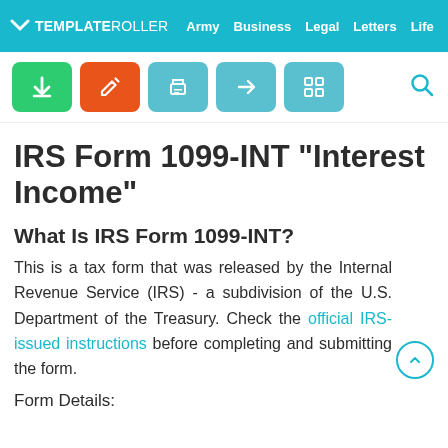TEMPLATEROLLER  Army  Business  Legal  Letters  Life
IRS Form 1099-INT "Interest Income"
What Is IRS Form 1099-INT?
This is a tax form that was released by the Internal Revenue Service (IRS) - a subdivision of the U.S. Department of the Treasury. Check the official IRS-issued instructions before completing and submitting the form.
Form Details: